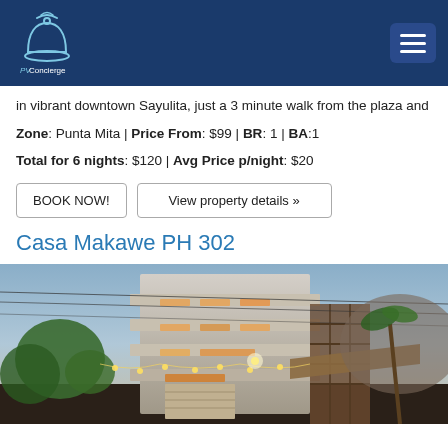PVConcierge
in vibrant downtown Sayulita, just a 3 minute walk from the plaza and
Zone: Punta Mita | Price From: $99 | BR: 1 | BA:1
Total for 6 nights: $120 | Avg Price p/night: $20
BOOK NOW! | View property details »
Casa Makawe PH 302
[Figure (photo): Exterior night photo of Casa Makawe PH 302, a multi-story modern building with balconies lit with warm string lights, palm trees and thatched roof structure visible, dusk/evening sky]